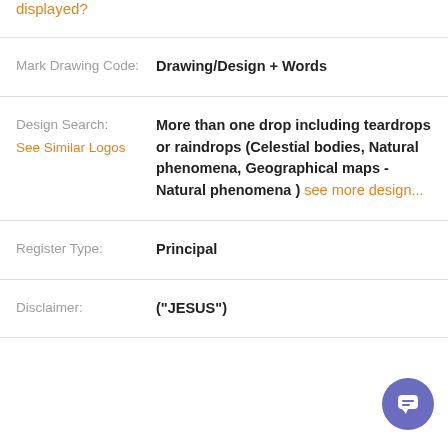displayed?
| Mark Drawing Code: | Drawing/Design + Words |
| Design Search: See Similar Logos | More than one drop including teardrops or raindrops (Celestial bodies, Natural phenomena, Geographical maps - Natural phenomena ) see more design... |
| Register Type: | Principal |
| Disclaimer: | ("JESUS") |